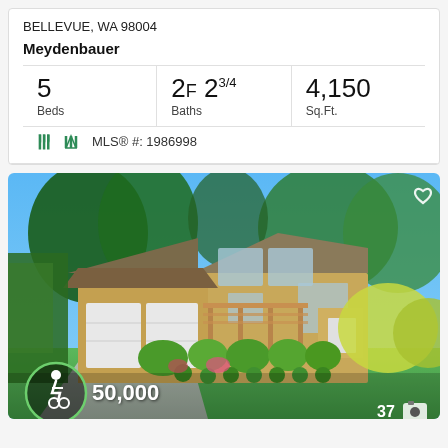BELLEVUE, WA 98004
Meydenbauer
| Beds | Baths | Sq.Ft. |
| --- | --- | --- |
| 5 | 2F 23/4 | 4,150 |
MLS® #: 1986998
[Figure (photo): Exterior photo of a two-story yellow stucco home with attached garage, pergola, landscaped front yard with trimmed bushes, green lawn, and mature trees under a blue sky. Overlaid: accessibility icon with price $50,000 at bottom-left; photo count '37' with camera icon at bottom-right; heart icon at top-right.]